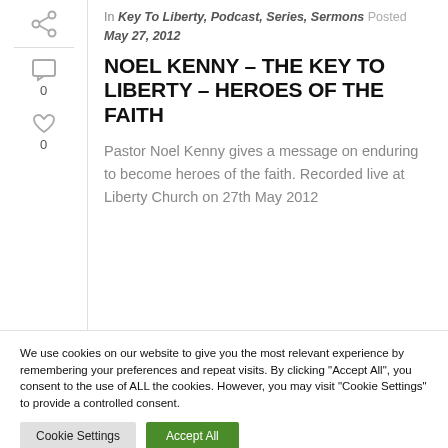In Key To Liberty, Podcast, Series, Sermons Posted May 27, 2012
NOEL KENNY – THE KEY TO LIBERTY – HEROES OF THE FAITH
Pastor Noel Kenny gives a message on enduring to become heroes of the faith. Recorded live at Liberty Church on 27th May 2012
We use cookies on our website to give you the most relevant experience by remembering your preferences and repeat visits. By clicking "Accept All", you consent to the use of ALL the cookies. However, you may visit "Cookie Settings" to provide a controlled consent.